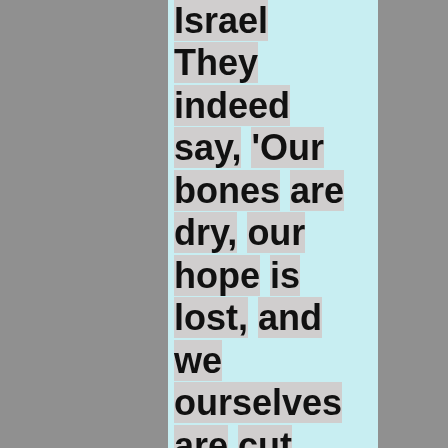Israel They indeed say, 'Our bones are dry, our hope is lost, and we ourselves are cut off!' 12 Therefore prophesy and say to them, 'Thus says the Lord